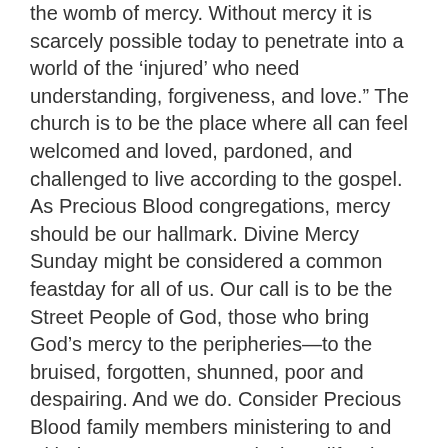the womb of mercy.  Without mercy it is scarcely possible today to penetrate into a world of the ‘injured’ who need understanding, forgiveness, and love.”  The church is to be the place where all can feel welcomed and loved, pardoned, and challenged to live according to the gospel.
As Precious Blood congregations, mercy should be our hallmark.  Divine Mercy Sunday might be considered a common feastday for all of us.  Our call is to be the Street People of God, those who bring God’s mercy to the peripheries—to the bruised, forgotten, shunned, poor and despairing. And we do.  Consider Precious Blood family members ministering to and with the LGBTQ community in California, the poor who come to the Center of Hope in Wichita, the many immigrants in St. Louis, the young men and families who come to the Precious Blood Ministry of Reconciliation in Chicago, those who seek help at the Brunner Literacy Center in Dayton, and the people who take a stand in